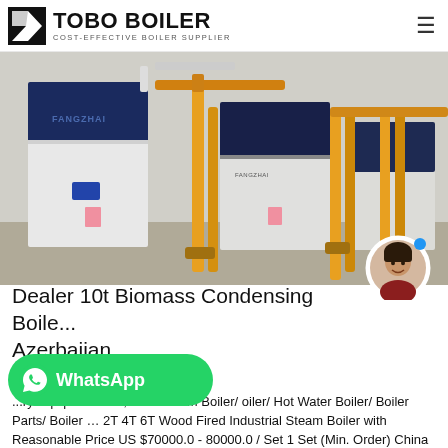TOBO BOILER — COST-EFFECTIVE BOILER SUPPLIER
[Figure (photo): Industrial biomass boiler units (FANGZHAI brand) in a boiler room, showing large white and dark blue vertical boiler cabinets with yellow and orange gas/pipe fittings.]
Dealer 10t Biomass Condensing Boiler Azerbaijan
ry Equipment Co., Ltd - Steam Boiler/ oiler/ Hot Water Boiler/ Boiler Parts/ Boiler … 2T 4T 6T Wood Fired Industrial Steam Boiler with Reasonable Price US $70000.0 - 80000.0 / Set 1 Set (Min. Order) China Famous Bran